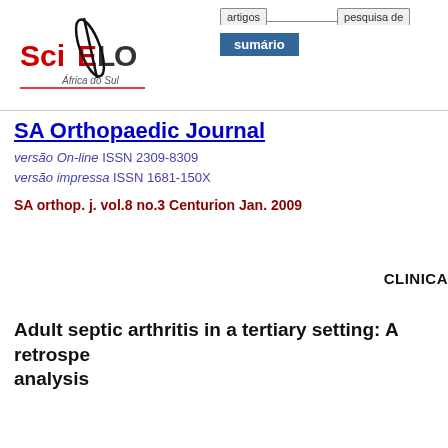[Figure (logo): SciELO África do Sul logo with navigation tabs showing 'artigos', 'sumário', and 'pesquisa de']
SA Orthopaedic Journal
versão On-line ISSN 2309-8309
versão impressa ISSN 1681-150X
SA orthop. j. vol.8 no.3 Centurion Jan. 2009
CLINICA
Adult septic arthritis in a tertiary setting: A retrospe... analysis